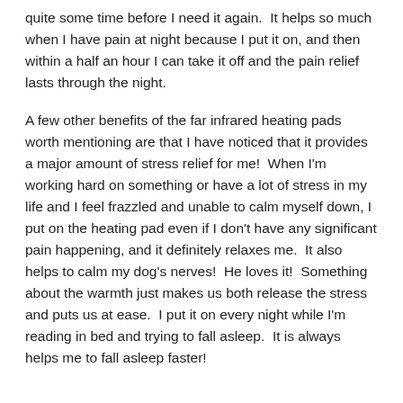quite some time before I need it again.  It helps so much when I have pain at night because I put it on, and then within a half an hour I can take it off and the pain relief lasts through the night.
A few other benefits of the far infrared heating pads worth mentioning are that I have noticed that it provides a major amount of stress relief for me!  When I'm working hard on something or have a lot of stress in my life and I feel frazzled and unable to calm myself down, I put on the heating pad even if I don't have any significant pain happening, and it definitely relaxes me.  It also helps to calm my dog's nerves!  He loves it!  Something about the warmth just makes us both release the stress and puts us at ease.  I put it on every night while I'm reading in bed and trying to fall asleep.  It is always helps me to fall asleep faster!